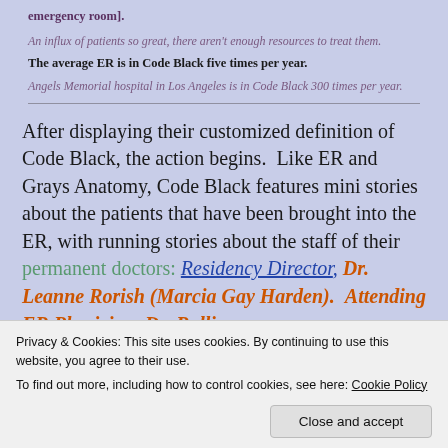emergency room].
An influx of patients so great, there aren't enough resources to treat them.
The average ER is in Code Black five times per year.
Angels Memorial hospital in Los Angeles is in Code Black 300 times per year.
After displaying their customized definition of Code Black, the action begins.  Like ER and Grays Anatomy, Code Black features mini stories about the patients that have been brought into the ER, with running stories about the staff of their permanent doctors: Residency Director, Dr. Leanne Rorish (Marcia Gay Harden).  Attending ER Physician, Dr. Rollie
(Benjamin Hollingsworth), Dr. Angus
Privacy & Cookies: This site uses cookies. By continuing to use this website, you agree to their use. To find out more, including how to control cookies, see here: Cookie Policy
Close and accept